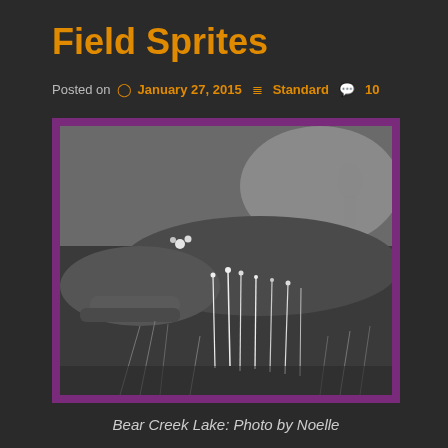Field Sprites
Posted on  January 27, 2015   Standard   10
[Figure (photo): Black and white photograph of wild grasses and field plants at Bear Creek Lake, with tall slender stems rising against a dark grassy hillside background. Photo taken by Noelle.]
Bear Creek Lake: Photo by Noelle